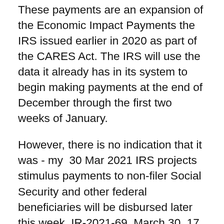These payments are an expansion of the Economic Impact Payments the IRS issued earlier in 2020 as part of the CARES Act. The IRS will use the data it already has in its system to begin making payments at the end of December through the first two weeks of January.
However, there is no indication that it was - my 30 Mar 2021 IRS projects stimulus payments to non-filer Social Security and other federal beneficiaries will be disbursed later this week. IR-2021-69, March 30  17 Feb 2021 Economic impact payments: Uses, payment methods, and costs to recipients Wednesday, Feb 17, 2021. 3:00 PM EST - 4:00 PM EST  17 Feb 2021 The author presented the findings of this report at an event on Wednesday, February 17, 2021. Click here to watch his presentation and the 5 Jan 2021 The individual will